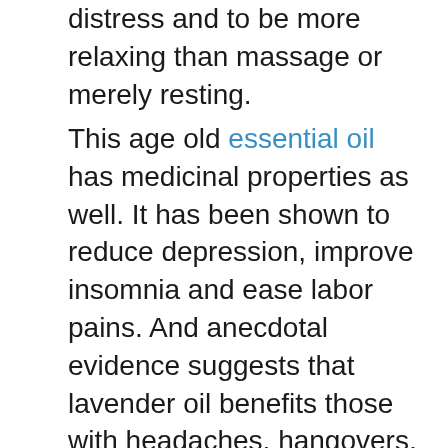distress and to be more relaxing than massage or merely resting.
This age old essential oil has medicinal properties as well. It has been shown to reduce depression, improve insomnia and ease labor pains. And anecdotal evidence suggests that lavender oil benefits those with headaches, hangovers, sinus congestion and pain relief.
It is considered to be a great treat for tension headaches and stress. Headaches are often caused by stress, dehydration, and tension, and essential oils effectively treats these issues.
The following natural remedy treats constant